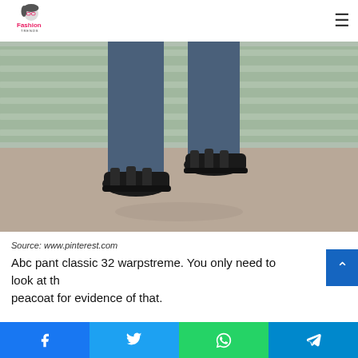Fashion Trends
[Figure (photo): Close-up of a person's legs from knee down, wearing dark blue slim trousers and black leather sandals, walking on a beige/brown pavement with green blurred fence in background]
Source: www.pinterest.com
Abc pant classic 32 warpstreme. You only need to look at the peacoat for evidence of that.
Facebook Twitter WhatsApp Telegram